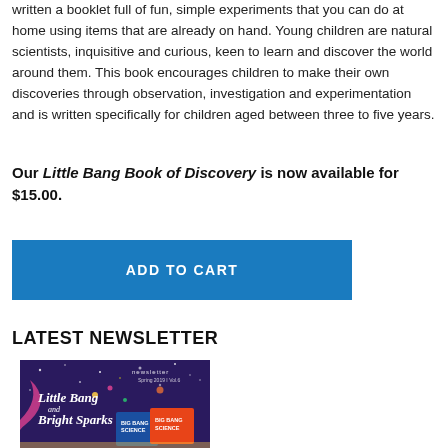written a booklet full of fun, simple experiments that you can do at home using items that are already on hand. Young children are natural scientists, inquisitive and curious, keen to learn and discover the world around them. This book encourages children to make their own discoveries through observation, investigation and experimentation and is written specifically for children aged between three to five years.
Our Little Bang Book of Discovery is now available for $15.00.
[Figure (other): Blue 'ADD TO CART' button]
LATEST NEWSLETTER
[Figure (photo): Newsletter cover image showing 'Little Bang and Bright Sparks' newsletter Spring 2019 Vol 6, with Big Bang Science cards visible]